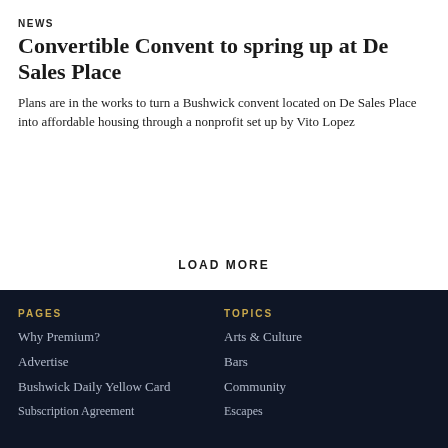NEWS
Convertible Convent to spring up at De Sales Place
Plans are in the works to turn a Bushwick convent located on De Sales Place into affordable housing through a nonprofit set up by Vito Lopez
LOAD MORE
PAGES
TOPICS
Why Premium?
Arts & Culture
Advertise
Bars
Bushwick Daily Yellow Card
Community
Subscription Agreement
Escapes